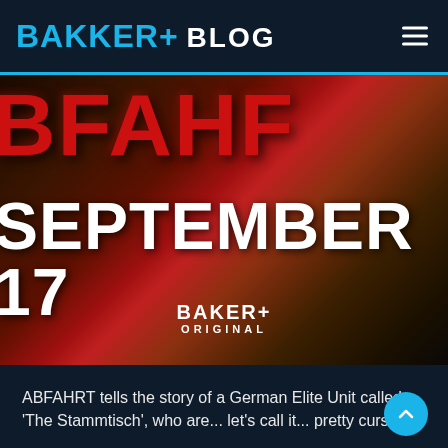BAKER+ BLOG
[Figure (screenshot): Promotional image for ABFAHRT showing large red 3D letters 'BFAHRT', white bold text 'SEPTEMBER 17', and BAKER+ ORIGINAL logo on a dark cinematic background.]
ABFAHRT tells the story of a German Elite Unit called 'The Stammtisch', who are... let's call it... pretty cursed